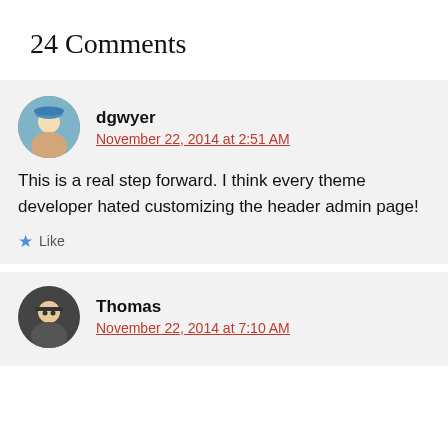24 Comments
dgwyer
November 22, 2014 at 2:51 AM
This is a real step forward. I think every theme developer hated customizing the header admin page!
Like
Thomas
November 22, 2014 at 7:10 AM